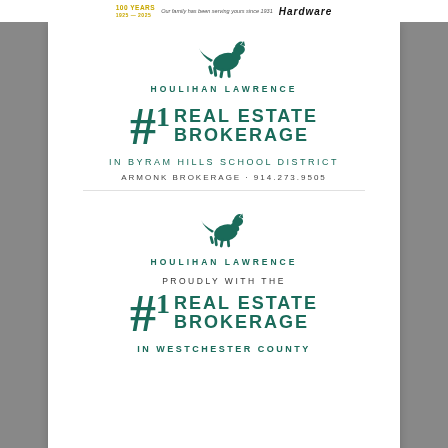100 YEARS 1925-2025 · Our family has been serving yours since 1931 · Hardware
[Figure (logo): Houlihan Lawrence running horse logo in teal]
HOULIHAN LAWRENCE
#1 REAL ESTATE BROKERAGE
IN BYRAM HILLS SCHOOL DISTRICT
ARMONK BROKERAGE · 914.273.9505
[Figure (logo): Houlihan Lawrence running horse logo in teal (second instance)]
HOULIHAN LAWRENCE
PROUDLY WITH THE
#1 REAL ESTATE BROKERAGE
IN WESTCHESTER COUNTY